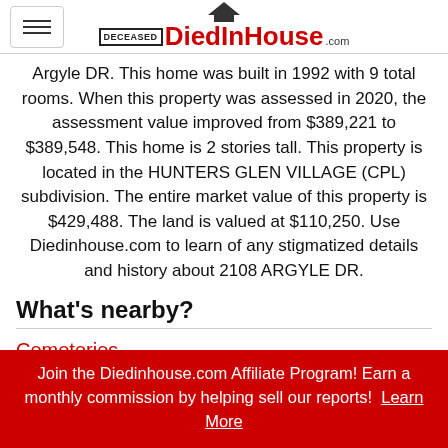DiedInHouse.com
Argyle DR. This home was built in 1992 with 9 total rooms. When this property was assessed in 2020, the assessment value improved from $389,221 to $389,548. This home is 2 stories tall. This property is located in the HUNTERS GLEN VILLAGE (CPL) subdivision. The entire market value of this property is $429,488. The land is valued at $110,250. Use Diedinhouse.com to learn of any stigmatized details and history about 2108 ARGYLE DR.
What's nearby?
Cemeteries
lem... location. Su... subdivision. row...
Columbarium
location... Ceme...
Join the Diedinhouse.com Affiliate Program! Earn a monthly commission by helping sell our reports! Learn More